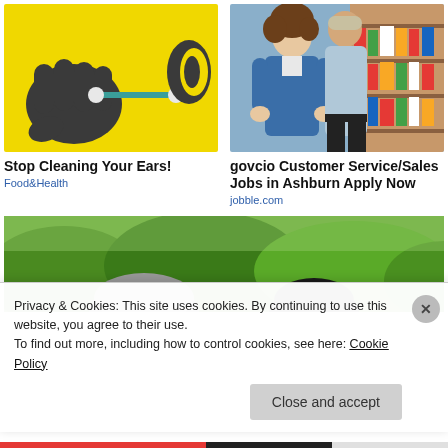[Figure (illustration): Yellow background with dark silhouette of hands holding a cotton swab near an ear]
[Figure (photo): Two retail store employees walking in a store aisle with shelves of products]
Stop Cleaning Your Ears!
Food&Health
govcio Customer Service/Sales Jobs in Ashburn Apply Now
jobble.com
[Figure (photo): Outdoor photo showing person from above near green grass and bushes]
Privacy & Cookies: This site uses cookies. By continuing to use this website, you agree to their use.
To find out more, including how to control cookies, see here: Cookie Policy